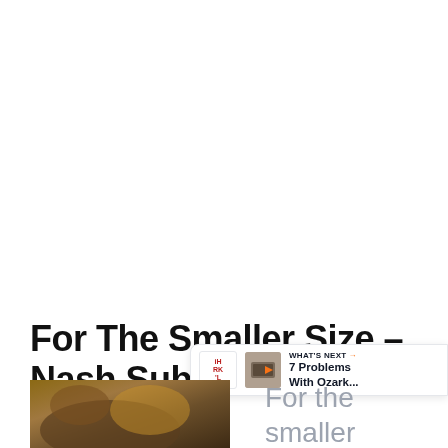For The Smaller Size – Nash Sub Cooler
[Figure (illustration): Heart/like button (blue circle with white heart icon) and share button (light grey circle with share icon) floating on the right side]
[Figure (screenshot): What's Next bar showing logo, cooler thumbnail, label 'WHAT'S NEXT →' and text '7 Problems With Ozark...']
For the smaller sized cooler you
[Figure (photo): Bottom-left partial photo of a cooler]